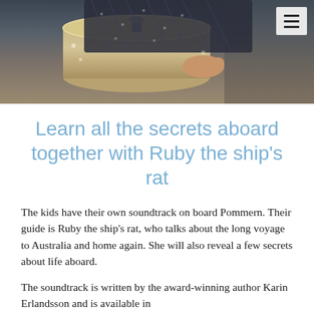[Figure (photo): A person in a dark patterned outfit working with what appears to be pottery or a ship's wheel, large golden/beige cylindrical object in foreground]
Learn all the secrets aboard together with Ruby the ship's rat
The kids have their own soundtrack on board Pommern. Their guide is Ruby the ship's rat, who talks about the long voyage to Australia and home again. She will also reveal a few secrets about life aboard.
The soundtrack is written by the award-winning author Karin Erlandsson and is available in